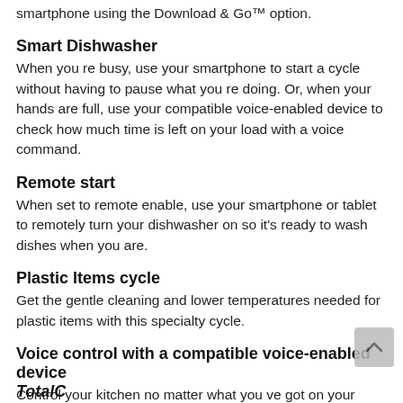smartphone using the Download & Go™ option.
Smart Dishwasher
When you re busy, use your smartphone to start a cycle without having to pause what you re doing. Or, when your hands are full, use your compatible voice-enabled device to check how much time is left on your load with a voice command.
Remote start
When set to remote enable, use your smartphone or tablet to remotely turn your dishwasher on so it's ready to wash dishes when you are.
Plastic Items cycle
Get the gentle cleaning and lower temperatures needed for plastic items with this specialty cycle.
Voice control with a compatible voice-enabled device
Control your kitchen no matter what you ve got on your hands with simple voice commands using the Google Assistant or an Alexa-enabled device.
TotalC...